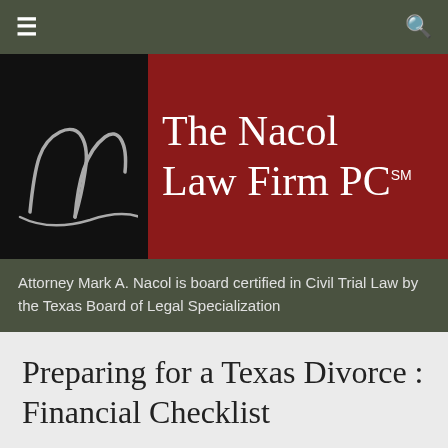Navigation bar with menu and search icons
[Figure (logo): The Nacol Law Firm PC logo with stylized 'n' letterform on black background and firm name in white serif text on dark red background]
Attorney Mark A. Nacol is board certified in Civil Trial Law by the Texas Board of Legal Specialization
Preparing for a Texas Divorce : Financial Checklist
Preparing for a Texas Divorce : Financial Checklist